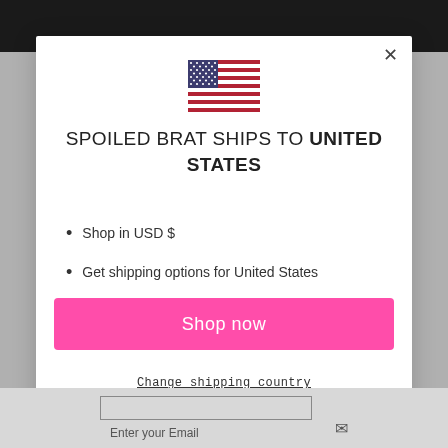[Figure (illustration): US flag SVG icon centered at top of modal]
SPOILED BRAT SHIPS TO UNITED STATES
Shop in USD $
Get shipping options for United States
Shop now
Change shipping country